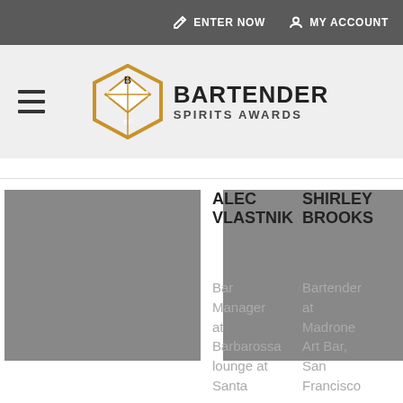ENTER NOW   MY ACCOUNT
[Figure (logo): Bartender Spirits Awards hexagonal logo with letters B, S, A, SF inside, gold/amber colored hexagon outline]
BARTENDER SPIRITS AWARDS
[Figure (photo): Gray placeholder photo for Alec Vlastnik (left)]
[Figure (photo): Gray placeholder photo for Shirley Brooks (right)]
ALEC VLASTNIK
Bar Manager at Barbarossa lounge at Santa
SHIRLEY BROOKS
Bartender at Madrone Art Bar, San Francisco